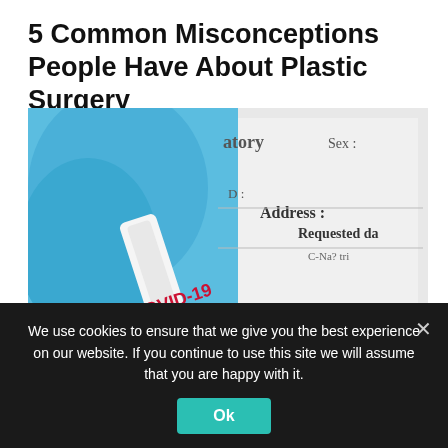5 Common Misconceptions People Have About Plastic Surgery
[Figure (photo): Close-up photo of blue-gloved hands holding a COVID-19 rapid test kit with a form showing fields for Address, Requested date, Result, and other fields in the background.]
How Reliable Are At-Home Coronavirus
We use cookies to ensure that we give you the best experience on our website. If you continue to use this site we will assume that you are happy with it.